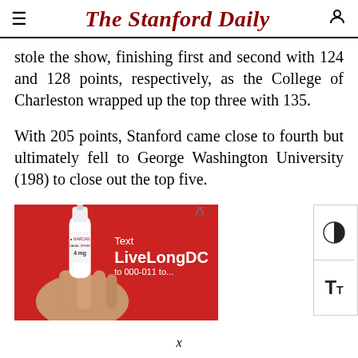The Stanford Daily
stole the show, finishing first and second with 124 and 128 points, respectively, as the College of Charleston wrapped up the top three with 135.
With 205 points, Stanford came close to fourth but ultimately fell to George Washington University (198) to close out the top five.
[Figure (photo): Advertisement banner with red background showing a hand holding a nasal spray labeled '4 mg NARCAN NASAL SPRAY' with white text reading 'Text LiveLongDC to 000-011 to...']